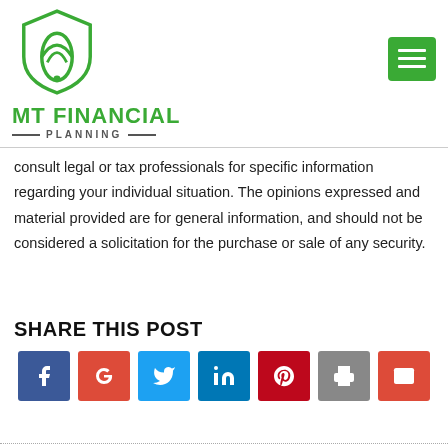[Figure (logo): MT Financial Planning logo: green shield with leaf/flame icon, company name in green bold text, PLANNING in grey with dashes]
consult legal or tax professionals for specific information regarding your individual situation. The opinions expressed and material provided are for general information, and should not be considered a solicitation for the purchase or sale of any security.
SHARE THIS POST
[Figure (infographic): Row of social share buttons: Facebook (blue), Google+ (red), Twitter (blue), LinkedIn (blue), Pinterest (dark red), Print (grey), Email (red)]